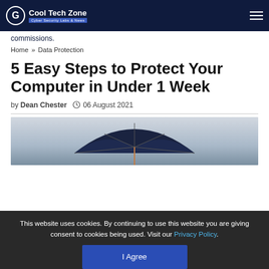Cool Tech Zone — Cyber Security Labs & News
commissions.
Home » Data Protection
5 Easy Steps to Protect Your Computer in Under 1 Week
by Dean Chester  06 August 2021
[Figure (photo): Dark umbrella photographed from below against a light grey sky]
This website uses cookies. By continuing to use this website you are giving consent to cookies being used. Visit our Privacy Policy. I Agree